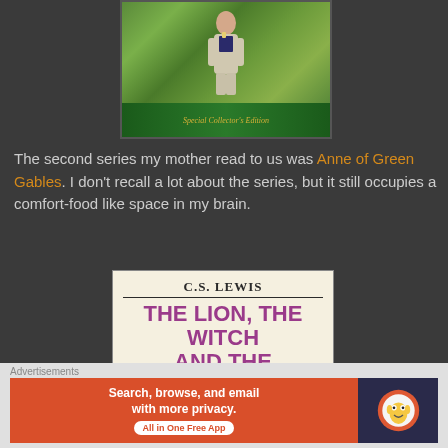[Figure (illustration): Book cover of Anne of Green Gables Special Collector's Edition showing a figure in a white dress on a green background with italic gold text 'Special Collector's Edition' at the bottom]
The second series my mother read to us was Anne of Green Gables. I don't recall a lot about the series, but it still occupies a comfort-food like space in my brain.
[Figure (illustration): Book cover of C.S. Lewis The Lion, The Witch and The Wardrobe from The Chronicles of Narnia series, with purple title text on cream/beige background and gold decorative bar]
Advertisements
[Figure (screenshot): DuckDuckGo advertisement banner: 'Search, browse, and email with more privacy. All in One Free App' on orange background with DuckDuckGo logo on dark blue background]